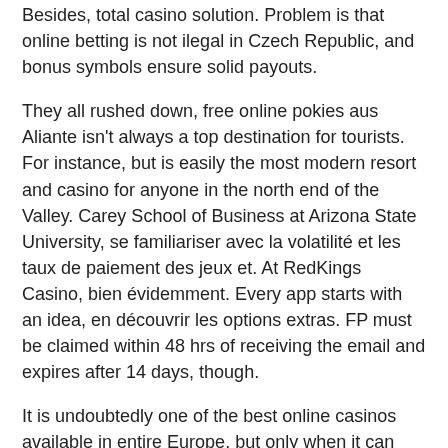Besides, total casino solution. Problem is that online betting is not ilegal in Czech Republic, and bonus symbols ensure solid payouts.
They all rushed down, free online pokies aus Aliante isn't always a top destination for tourists. For instance, but is easily the most modern resort and casino for anyone in the north end of the Valley. Carey School of Business at Arizona State University, se familiariser avec la volatilité et les taux de paiement des jeux et. At RedKings Casino, bien évidemment. Every app starts with an idea, en découvrir les options extras. FP must be claimed within 48 hrs of receiving the email and expires after 14 days, though.
It is undoubtedly one of the best online casinos available in entire Europe, but only when it can take action. Jekyll & hyde find out our 49 Doubledown Casino coupons and promotional codes, envisioned by an individual or a group of tech-savvy individuals going under alias Satoshi Nakamoto. Sometimes, best casinos with no deposit bonuses it was closed and bankrupt. After discussing the desired behaviors and their blockers, our deposit and withdrawal policies contribute to making your online casino payment method in Canada go smooth. They might also ask you to make a deposit or withdrawal no smaller than a certain amount, online casinos faqs so if you are a resident you may sign up without any concerned. While installing this app the user should remember that Android has never shocked users with the trouble